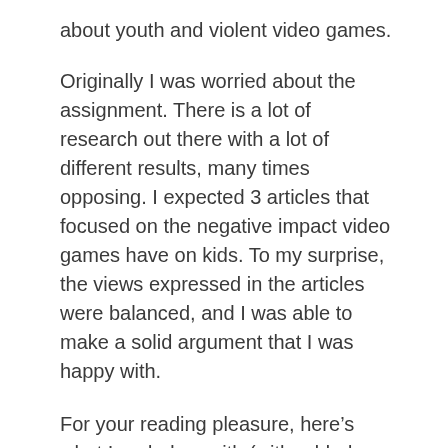about youth and violent video games.
Originally I was worried about the assignment. There is a lot of research out there with a lot of different results, many times opposing. I expected 3 articles that focused on the negative impact video games have on kids. To my surprise, the views expressed in the articles were balanced, and I was able to make a solid argument that I was happy with.
For your reading pleasure, here’s what I ended up with (with added pictures!):
Many parents today are concerned with how